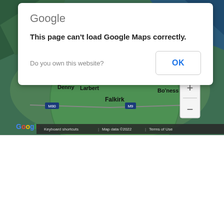[Figure (screenshot): Google Maps satellite view showing Falkirk, Larbert, Denny, Bo'ness area in Scotland with a green circle overlay. Map shows terrain/satellite imagery with road labels M80, M9. Google logo visible bottom left. Map data ©2022. Keyboard shortcuts and Terms of Use links at bottom.]
Google
This page can't load Google Maps correctly.
Do you own this website?
OK
Keyboard shortcuts | Map data ©2022 | Terms of Use